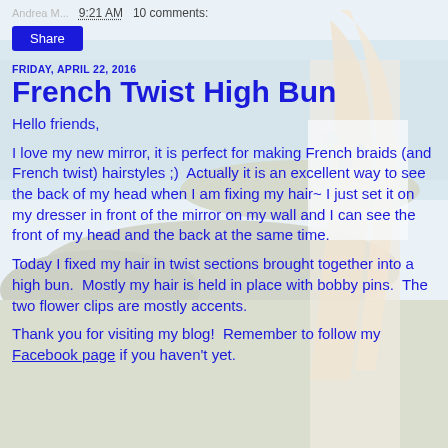9:21 AM   10 comments:
Share
FRIDAY, APRIL 22, 2016
French Twist High Bun
Hello friends,
I love my new mirror, it is perfect for making French braids (and French twist) hairstyles ;)  Actually it is an excellent way to see the back of my head when I am fixing my hair~ I just set it on my dresser in front of the mirror on my wall and I can see the front of my head and the back at the same time.
Today I fixed my hair in twist sections brought together into a high bun.  Mostly my hair is held in place with bobby pins.  The two flower clips are mostly accents.
Thank you for visiting my blog!  Remember to follow my Facebook page if you haven't yet.